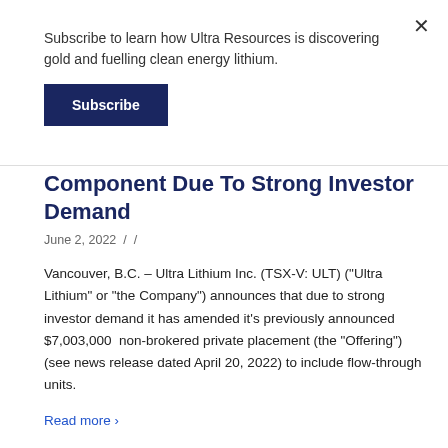Subscribe to learn how Ultra Resources is discovering gold and fuelling clean energy lithium.
Subscribe
Component Due To Strong Investor Demand
June 2, 2022 / /
Vancouver, B.C. – Ultra Lithium Inc. (TSX-V: ULT) ("Ultra Lithium" or "the Company") announces that due to strong investor demand it has amended it's previously announced $7,003,000 non-brokered private placement (the "Offering") (see news release dated April 20, 2022) to include flow-through units.
Read more >